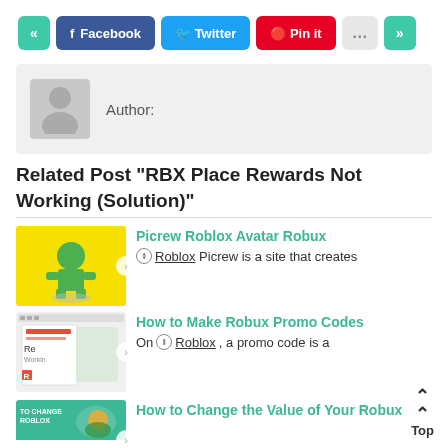[Figure (other): Social share button bar with prev, Facebook, Twitter, Pin it, more, and next buttons]
[Figure (other): Author box with grey avatar placeholder and Author: label]
Related Post "RBX Place Rewards Not Working (Solution)"
[Figure (other): Thumbnail of Roblox avatar on yellow background]
Picrew Roblox Avatar Robux
Roblox Picrew is a site that creates
[Figure (other): Thumbnail of Roblox promo code page screenshot]
How to Make Robux Promo Codes
On Roblox, a promo code is a
[Figure (other): Thumbnail of How to Change the Value of Your Robux article]
How to Change the Value of Your Robux
Top